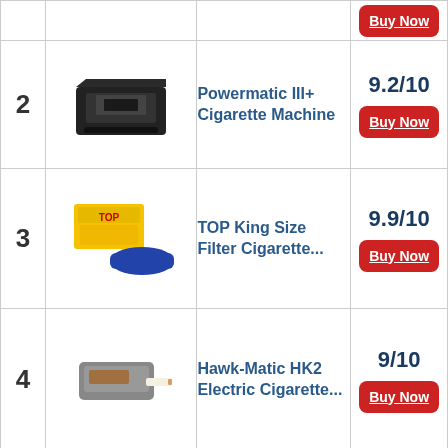| # | Image | Product | Score/Buy |
| --- | --- | --- | --- |
| 2 | [image] | Powermatic III+ Cigarette Machine | 9.2/10 | Buy Now |
| 3 | [image] | TOP King Size Filter Cigarette... | 9.9/10 | Buy Now |
| 4 | [image] | Hawk-Matic HK2 Electric Cigarette... | 9/10 | Buy Now |
| 5 | [image] | Hawk-Matic HK2... | 9.9/10 |